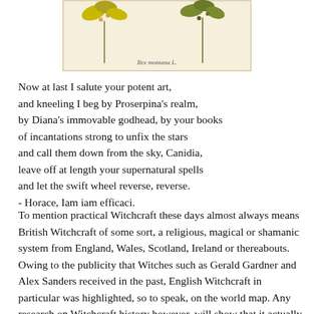[Figure (illustration): Botanical illustration of a plant with yellow-green leaves and berries on a cream/beige background, with a caption reading 'Ilex montana L.']
Now at last I salute your potent art,
and kneeling I beg by Proserpina's realm,
by Diana's immovable godhead, by your books
of incantations strong to unfix the stars
and call them down from the sky, Canidia,
leave off at length your supernatural spells
and let the swift wheel reverse, reverse.
- Horace, Iam iam efficaci.
To mention practical Witchcraft these days almost always means British Witchcraft of some sort, a religious, magical or shamanic system from England, Wales, Scotland, Ireland or thereabouts. Owing to the publicity that Witches such as Gerald Gardner and Alex Sanders received in the past, English Witchcraft in particular was highlighted, so to speak, on the world map. Any research on Witchcraft history however, will show that it actually occurs all over the world in different variations. One of these Witchcraft variations is the Italian version, called 'Stregheria'. The word